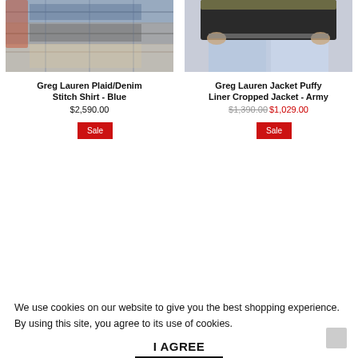[Figure (photo): Product photo of Greg Lauren Plaid/Denim Stitch Shirt in blue plaid pattern, cropped view of torso]
[Figure (photo): Product photo of Greg Lauren Jacket Puffy Liner Cropped Jacket in Army color, cropped view showing jeans and jacket bottom]
Greg Lauren Plaid/Denim Stitch Shirt - Blue
$2,590.00
Greg Lauren Jacket Puffy Liner Cropped Jacket - Army
$1,390.00 $1,029.00
Sale
Sale
We use cookies on our website to give you the best shopping experience. By using this site, you agree to its use of cookies.
I AGREE